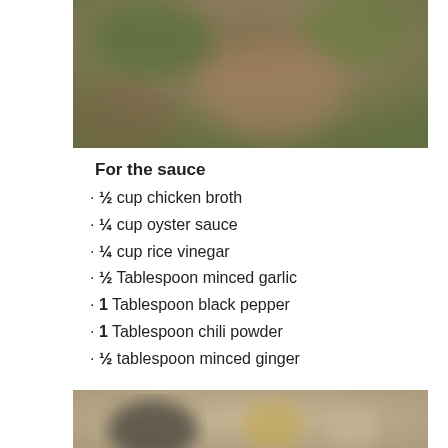[Figure (photo): Blurred photo of food/ingredients with green and brown tones, top portion of page]
For the sauce
½ cup chicken broth
¼ cup oyster sauce
¼ cup rice vinegar
½ Tablespoon minced garlic
1 Tablespoon black pepper
1 Tablespoon chili powder
½ tablespoon minced ginger
[Figure (photo): Blurred photo of sauce ingredients including a dark bowl and glass jars on a wooden surface, bottom portion of page]